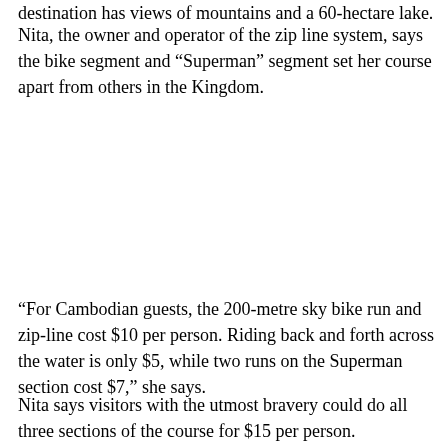destination has views of mountains and a 60-hectare lake.
Nita, the owner and operator of the zip line system, says the bike segment and “Superman” segment set her course apart from others in the Kingdom.
“For Cambodian guests, the 200-metre sky bike run and zip-line cost $10 per person. Riding back and forth across the water is only $5, while two runs on the Superman section cost $7,” she says.
Nita says visitors with the utmost bravery could do all three sections of the course for $15 per person.